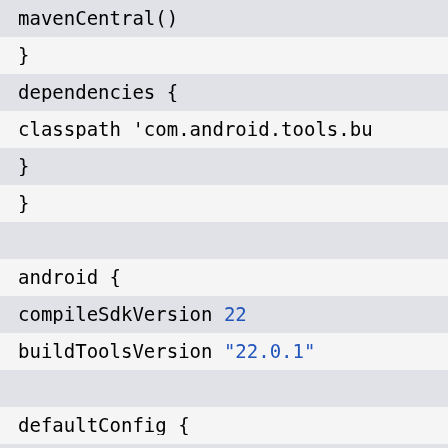mavenCentral()
}
dependencies {
classpath 'com.android.tools.bu
}
}
android {
compileSdkVersion 22
buildToolsVersion "22.0.1"
defaultConfig {
minSdkVersion 15
targetSdkVersion 22
versionCode 2490